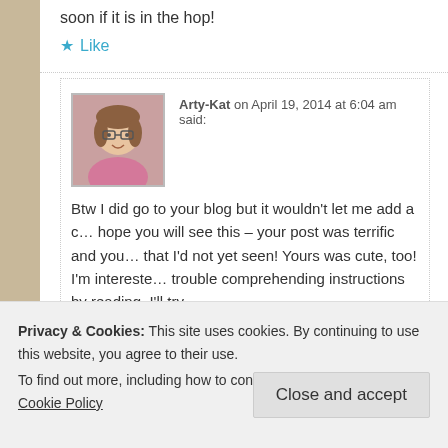soon if it is in the hop!
Like
Arty-Kat on April 19, 2014 at 6:04 am said:
Btw I did go to your blog but it wouldn't let me add a c... hope you will see this – your post was terrific and you... that I'd not yet seen! Yours was cute, too! I'm intereste... trouble comprehending instructions by reading. I'll try
Like
Privacy & Cookies: This site uses cookies. By continuing to use this website, you agree to their use. To find out more, including how to control cookies, see here: Cookie Policy
Close and accept